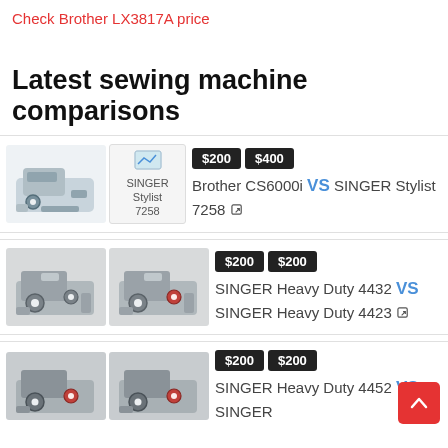Check Brother LX3817A price
Latest sewing machine comparisons
[Figure (screenshot): Comparison row 1: Brother CS6000i sewing machine image and SINGER Stylist 7258 placeholder image. Price tags $200 and $400. Label: Brother CS6000i VS SINGER Stylist 7258]
[Figure (screenshot): Comparison row 2: Two SINGER Heavy Duty sewing machine images. Price tags $200 and $200. Label: SINGER Heavy Duty 4432 VS SINGER Heavy Duty 4423]
[Figure (screenshot): Comparison row 3 (partial): Two sewing machine images. Price tags $200 and $200. Label: SINGER Heavy Duty 4452 VS SINGER (cut off)]